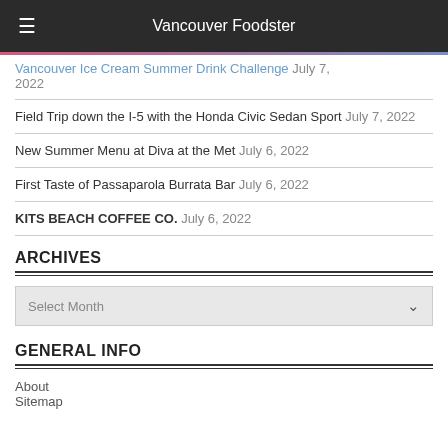Vancouver Foodster
Vancouver Ice Cream Summer Drink Challenge July 7, 2022
Field Trip down the I-5 with the Honda Civic Sedan Sport July 7, 2022
New Summer Menu at Diva at the Met July 6, 2022
First Taste of Passaparola Burrata Bar July 6, 2022
KITS BEACH COFFEE CO. July 6, 2022
ARCHIVES
Select Month
GENERAL INFO
About
Sitemap